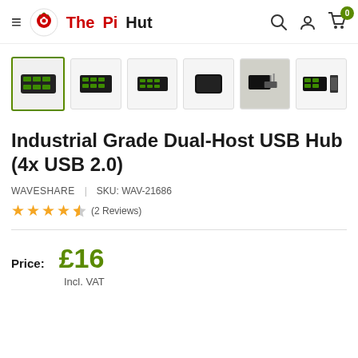The PiHut — navigation header with search, account, and cart icons
[Figure (photo): Six product thumbnail images of the Industrial Grade Dual-Host USB Hub (4x USB 2.0), the first selected with a green border]
Industrial Grade Dual-Host USB Hub (4x USB 2.0)
WAVESHARE | SKU: WAV-21686
★★★★☆ (2 Reviews)
Price: £16
Incl. VAT